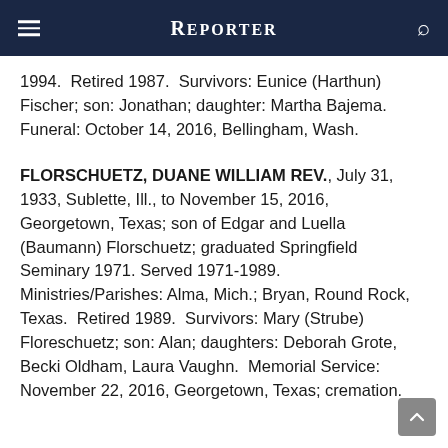Reporter
1994.  Retired 1987.  Survivors: Eunice (Harthun) Fischer; son: Jonathan; daughter: Martha Bajema.  Funeral: October 14, 2016, Bellingham, Wash.
FLORSCHUETZ, DUANE WILLIAM REV., July 31, 1933, Sublette, Ill., to November 15, 2016, Georgetown, Texas; son of Edgar and Luella (Baumann) Florschuetz; graduated Springfield Seminary 1971. Served 1971-1989. Ministries/Parishes: Alma, Mich.; Bryan, Round Rock, Texas.  Retired 1989.  Survivors: Mary (Strube) Floreschuetz; son: Alan; daughters: Deborah Grote, Becki Oldham, Laura Vaughn.  Memorial Service: November 22, 2016, Georgetown, Texas; cremation.